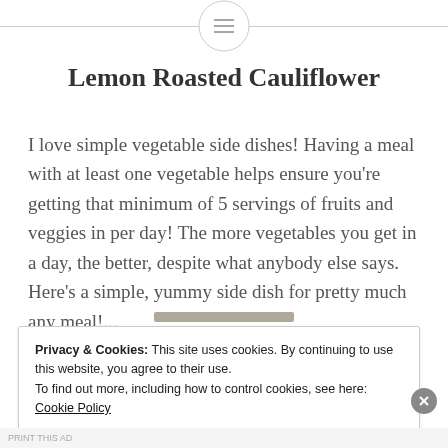Lemon Roasted Cauliflower
I love simple vegetable side dishes! Having a meal with at least one vegetable helps ensure you're getting that minimum of 5 servings of fruits and veggies in per day! The more vegetables you get in a day, the better, despite what anybody else says. Here's a simple, yummy side dish for pretty much any meal!...
Privacy & Cookies: This site uses cookies. By continuing to use this website, you agree to their use. To find out more, including how to control cookies, see here: Cookie Policy
Close and accept